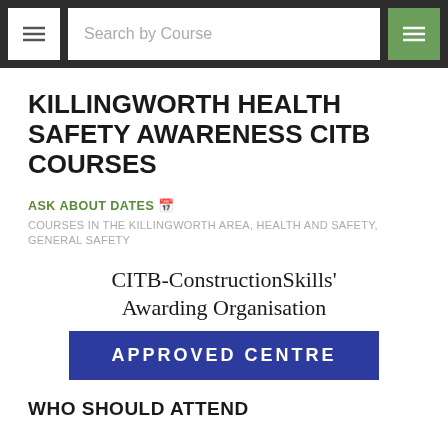Search by Course
KILLINGWORTH HEALTH SAFETY AWARENESS CITB COURSES
ASK ABOUT DATES
COURSES IN THE KILLINGWORTH AREA, HEALTH AND SAFETY, GENERAL SAFETY
[Figure (logo): CITB-ConstructionSkills' Awarding Organisation Approved Centre logo with blue bar]
WHO SHOULD ATTEND